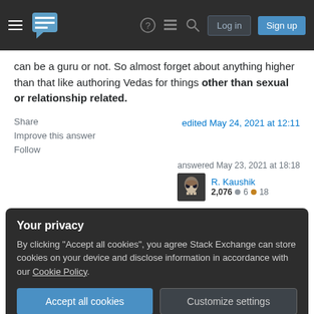Stack Exchange — Log in | Sign up
can be a guru or not. So almost forget about anything higher than that like authoring Vedas for things other than sexual or relationship related.
Share   Improve this answer   Follow   edited May 24, 2021 at 12:11
answered May 23, 2021 at 18:18
R. Kaushik
2,076 ● 6 ● 18
Your privacy
By clicking "Accept all cookies", you agree Stack Exchange can store cookies on your device and disclose information in accordance with our Cookie Policy.
Accept all cookies   Customize settings
same answer again is not good. – TheLittleNaruto ◆